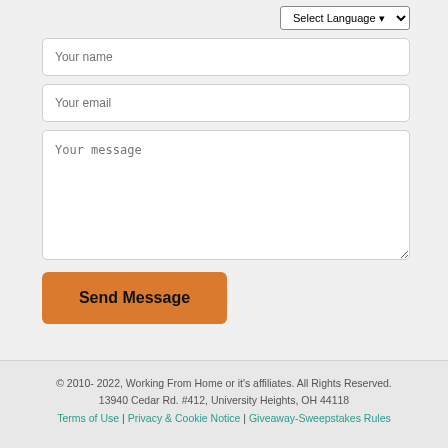[Figure (screenshot): Contact form with fields for name, email, message, a Select Language dropdown, and an orange Send Message button]
© 2010- 2022, Working From Home or it's affiliates. All Rights Reserved.
13940 Cedar Rd. #412, University Heights, OH 44118
Terms of Use | Privacy & Cookie Notice | Giveaway-Sweepstakes Rules